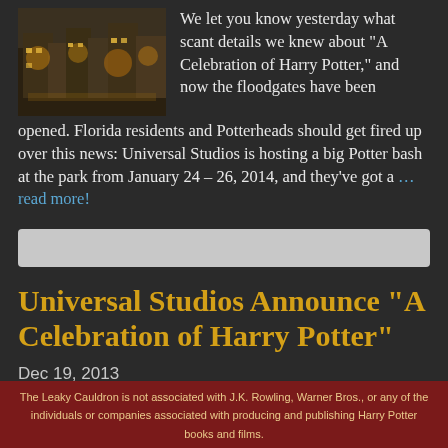[Figure (photo): Thumbnail photo of a nighttime scene at a fantasy/wizarding themed area, possibly Hogsmeade at Universal Studios, with illuminated buildings and warm golden light.]
We let you know yesterday what scant details we knew about “A Celebration of Harry Potter,” and now the floodgates have been opened. Florida residents and Potterheads should get fired up over this news: Universal Studios is hosting a big Potter bash at the park from January 24 – 26, 2014, and they’ve got a …read more!
[Figure (other): Search bar or input field, light gray background.]
Universal Studios Announce “A Celebration of Harry Potter”
Dec 19, 2013
Posted by: Melissa Anelli
The Leaky Cauldron is not associated with J.K. Rowling, Warner Bros., or any of the individuals or companies associated with producing and publishing Harry Potter books and films.